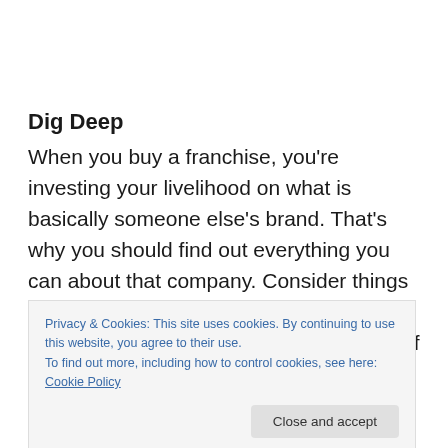Dig Deep
When you buy a franchise, you’re investing your livelihood on what is basically someone else’s brand. That’s why you should find out everything you can about that company. Consider things like what you get for your business when you buy their franchise. What’s the ratio of support staff to franchises? Is the franchiser more focused on selling
Privacy & Cookies: This site uses cookies. By continuing to use this website, you agree to their use.
To find out more, including how to control cookies, see here: Cookie Policy
However, if the company is privately held, you’ll have to